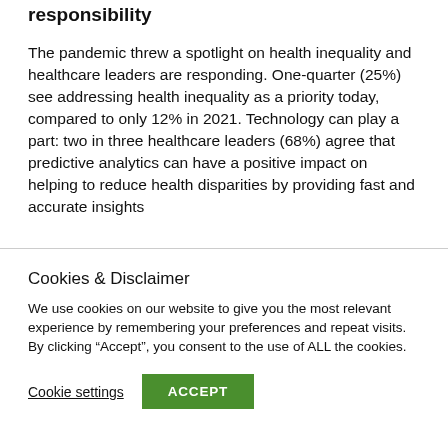responsibility
The pandemic threw a spotlight on health inequality and healthcare leaders are responding. One-quarter (25%) see addressing health inequality as a priority today, compared to only 12% in 2021. Technology can play a part: two in three healthcare leaders (68%) agree that predictive analytics can have a positive impact on helping to reduce health disparities by providing fast and accurate insights
Cookies & Disclaimer
We use cookies on our website to give you the most relevant experience by remembering your preferences and repeat visits. By clicking “Accept”, you consent to the use of ALL the cookies.
Cookie settings   ACCEPT